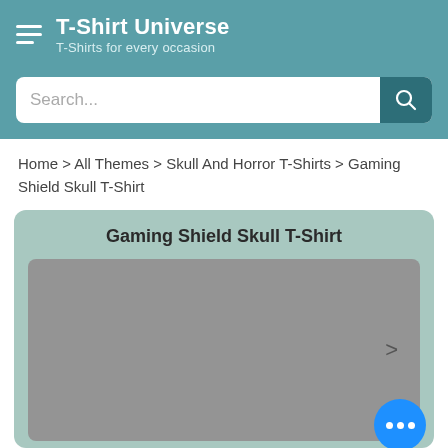T-Shirt Universe — T-Shirts for every occasion
Search...
Home > All Themes > Skull And Horror T-Shirts > Gaming Shield Skull T-Shirt
Gaming Shield Skull T-Shirt
[Figure (screenshot): Product image placeholder (grey rectangle) with a right chevron arrow indicating image carousel navigation]